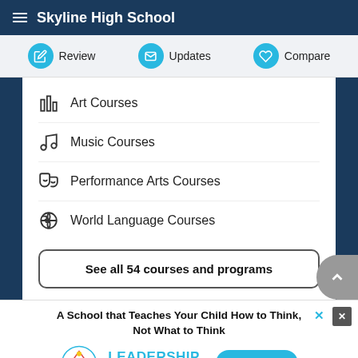Skyline High School
Review
Updates
Compare
Art Courses
Music Courses
Performance Arts Courses
World Language Courses
See all 54 courses and programs
[Figure (infographic): Advertisement for Leadership Academy of Colorado with logo and Learn more button. Text: A School that Teaches Your Child How to Think, Not What to Think]
ADVERTISEMENT